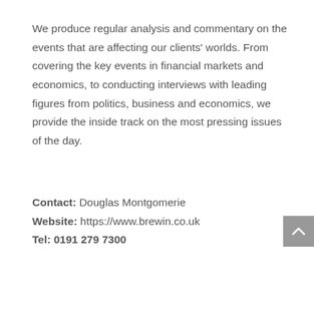We produce regular analysis and commentary on the events that are affecting our clients' worlds. From covering the key events in financial markets and economics, to conducting interviews with leading figures from politics, business and economics, we provide the inside track on the most pressing issues of the day.
Contact: Douglas Montgomerie
Website: https://www.brewin.co.uk
Tel: 0191 279 7300